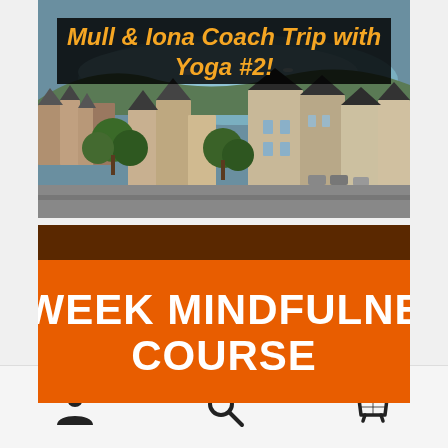[Figure (photo): Aerial photograph of a Scottish coastal town (Oban or similar) with stone buildings, slate roofs, green trees, and a harbour/bay visible in the background. Title text overlay reads 'Mull & Iona Coach Trip with Yoga #2!' in orange italic text on a dark semi-transparent background.]
Mull & Iona Coach Trip with Yoga #2!
[Figure (photo): Promotional banner image with an orange background/overlay and sunset scene partially visible. Large white bold text reads 'WEEK MINDFULNESS COURSE' (text is cropped/cut off at the left edge showing partial text).]
WEEK MINDFULNESS COURSE